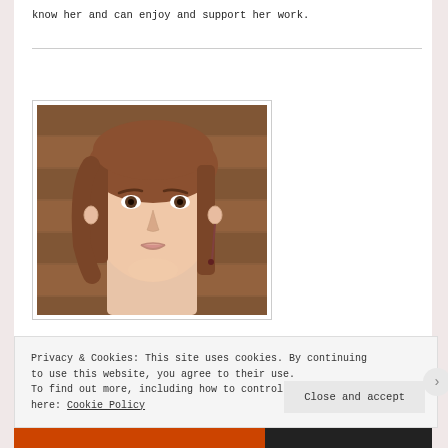know her and can enjoy and support her work.
[Figure (photo): Portrait photo of a young woman with straight brown hair, light skin, wearing dangling earrings, photographed in front of a wooden background.]
Privacy & Cookies: This site uses cookies. By continuing to use this website, you agree to their use.
To find out more, including how to control cookies, see here: Cookie Policy
Close and accept